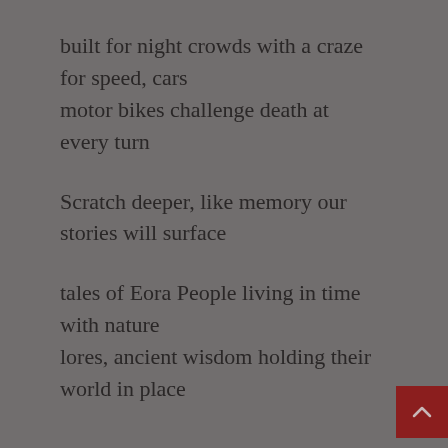built for night crowds with a craze for speed, cars
motor bikes challenge death at every turn

Scratch deeper, like memory our stories will surface

tales of Eora People living in time with nature
lores, ancient wisdom holding their world in place